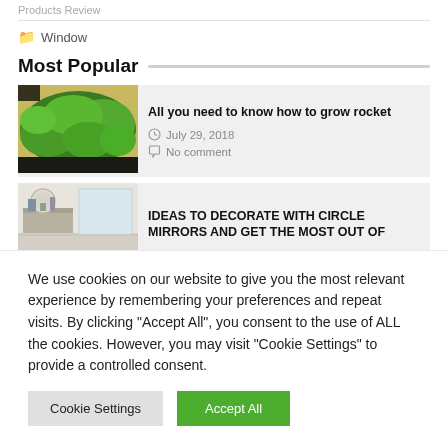Products Review
Window
Most Popular
[Figure (photo): Green leafy plants growing in a tray, viewed from above]
All you need to know how to grow rocket
July 29, 2018
No comment
[Figure (photo): Interior room with circle mirrors on the wall]
IDEAS TO DECORATE WITH CIRCLE MIRRORS AND GET THE MOST OUT OF
We use cookies on our website to give you the most relevant experience by remembering your preferences and repeat visits. By clicking "Accept All", you consent to the use of ALL the cookies. However, you may visit "Cookie Settings" to provide a controlled consent.